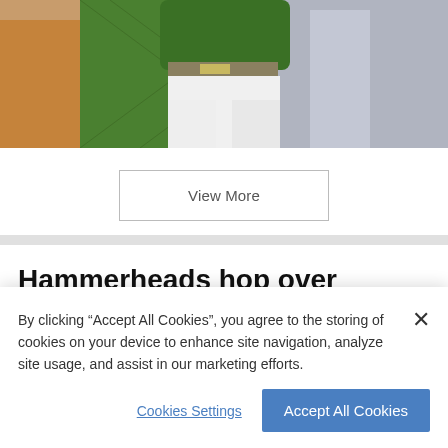[Figure (photo): Baseball player in green uniform running, partial view of torso and legs, with dugout/field in background]
View More
Hammerheads hop over Tortugas, 5-2
By clicking “Accept All Cookies”, you agree to the storing of cookies on your device to enhance site navigation, analyze site usage, and assist in our marketing efforts.
Cookies Settings
Accept All Cookies